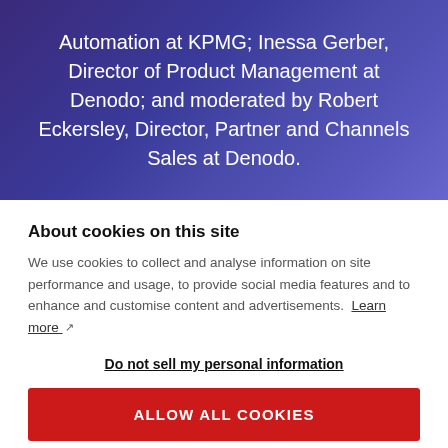Automation at KPMG; Inessa Gerber, Director of Product Management at Denodo; and moderated by Robert Eckersley, Director, Partner and Channels Sales at Denodo.
About cookies on this site
We use cookies to collect and analyse information on site performance and usage, to provide social media features and to enhance and customise content and advertisements. Learn more
Do not sell my personal information
ALLOW ALL COOKIES